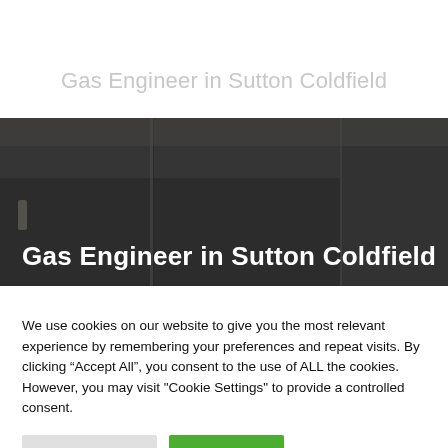Gas Engineer in Sutton Coldfield
[Figure (photo): Dark interior kitchen/room photograph used as a banner background image]
Gas Engineer in Sutton Coldfield
We use cookies on our website to give you the most relevant experience by remembering your preferences and repeat visits. By clicking “Accept All”, you consent to the use of ALL the cookies. However, you may visit “Cookie Settings” to provide a controlled consent.
Cookie Settings | Accept All